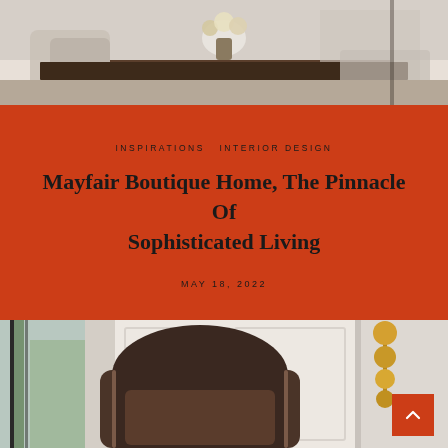[Figure (photo): Interior dining room photo showing a dark table with floral arrangement, chairs, and elegant decor in neutral tones]
INSPIRATIONS  INTERIOR DESIGN
Mayfair Boutique Home, The Pinnacle Of Sophisticated Living
MAY 18, 2022
[Figure (photo): Luxury interior room photo showing an armchair with bronze/dark leather finish, white paneled wall with gold ball sconce wall light, large window with curtains and trees visible outside]